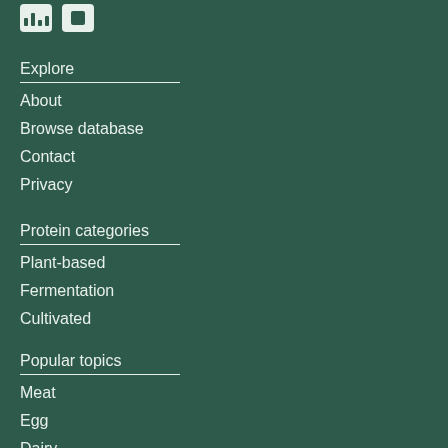[Figure (other): Two icon buttons: a bar chart icon and a square/layout icon]
Explore
About
Browse database
Contact
Privacy
Protein categories
Plant-based
Fermentation
Cultivated
Popular topics
Meat
Egg
Dairy